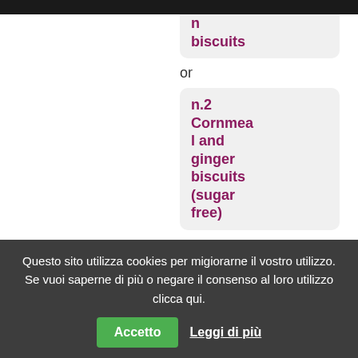and cinnamon biscuits
or
n.2 Cornmeal and ginger biscuits (sugar free)
or
n. 2
Questo sito utilizza cookies per migiorarne il vostro utilizzo. Se vuoi saperne di più o negare il consenso al loro utilizzo clicca qui.
Accetto
Leggi di più